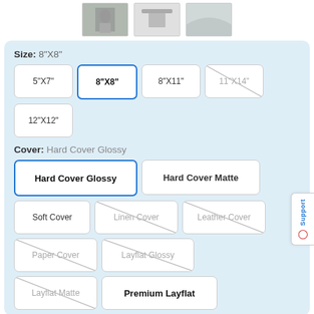[Figure (photo): Three product thumbnail images in a row at the top of the page]
Size: 8"X8"
5"X7"
8"X8" (selected)
8"X11"
11"X14" (unavailable)
12"X12"
Cover: Hard Cover Glossy
Hard Cover Glossy (selected)
Hard Cover Matte
Soft Cover
Linen Cover (unavailable)
Leather Cover (unavailable)
Paper Cover (unavailable)
Layflat Glossy (unavailable)
Layflat Matte (unavailable)
Premium Layflat